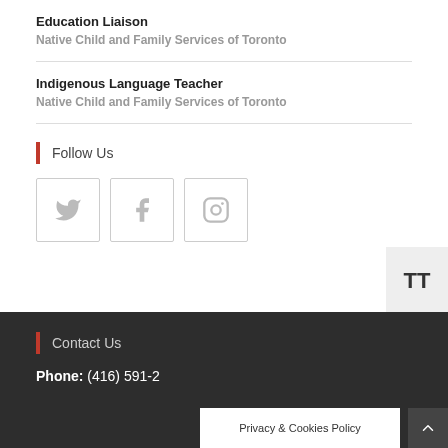Education Liaison
Native Child and Family Services of Toronto
Indigenous Language Teacher
Native Child and Family Services of Toronto
Follow Us
[Figure (infographic): Three social media icon boxes: Twitter bird icon, Facebook icon, Instagram icon]
Contact Us
Phone: (416) 591-2